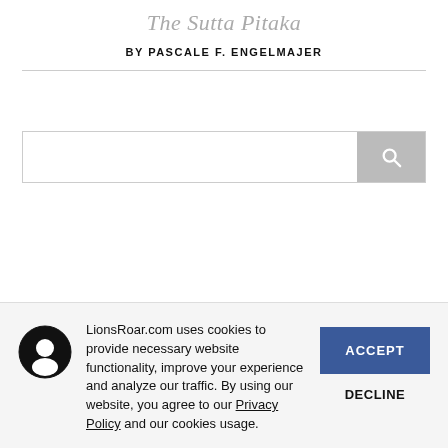The Sutta Pitaka
BY PASCALE F. ENGELMAJER
[Figure (other): Search bar with gray search button and magnifying glass icon]
[Figure (other): Cookie consent banner with Buddhist figure icon, message about LionsRoar.com cookies, Accept and Decline buttons]
LionsRoar.com uses cookies to provide necessary website functionality, improve your experience and analyze our traffic. By using our website, you agree to our Privacy Policy and our cookies usage.